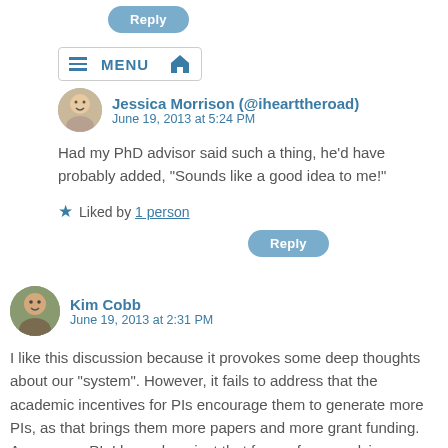Reply
MENU [home icon]
Jessica Morrison (@ihearttheroad)
June 19, 2013 at 5:24 PM

Had my PhD advisor said such a thing, he'd have probably added, “Sounds like a good idea to me!”

★ Liked by 1 person
Reply
Kim Cobb
June 19, 2013 at 2:31 PM

I like this discussion because it provokes some deep thoughts about our “system”. However, it fails to address that the academic incentives for PIs encourage them to generate more PIs, as that brings them more papers and more grant funding. As a young PI, I have done just that for my former advisors. Note: none of my recent PhDs have earned their keep in this regard,